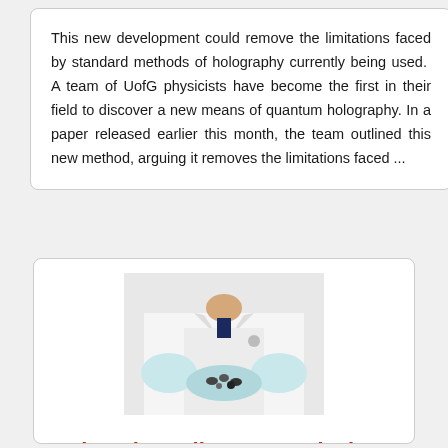This new development could remove the limitations faced by standard methods of holography currently being used.  A team of UofG physicists have become the first in their field to discover a new means of quantum holography. In a paper released earlier this month, the team outlined this new method, arguing it removes the limitations faced ...
[Figure (photo): A researcher in a white lab coat and blue gloves holding small objects (pills or samples) in cupped hands]
University strikes £4.6m deal with US pharma company for new drug research